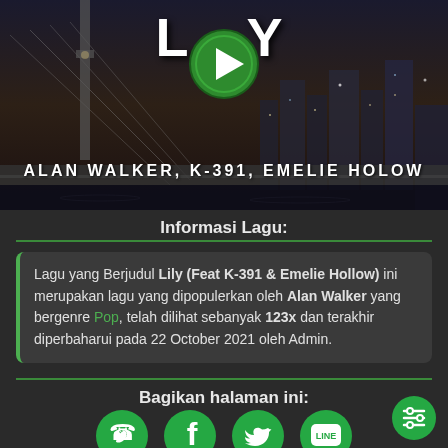[Figure (illustration): Hero banner with night cityscape and bridge background, showing 'LILY' text with a green play button, and artist names 'ALAN WALKER, K-391, EMELIE HOLOW' below]
Informasi Lagu:
Lagu yang Berjudul Lily (Feat K-391 & Emelie Hollow) ini merupakan lagu yang dipopulerkan oleh Alan Walker yang bergenre Pop, telah dilihat sebanyak 123x dan terakhir diperbaharui pada 22 October 2021 oleh Admin.
Bagikan halaman ini:
[Figure (illustration): Row of social media share icons: WhatsApp, Facebook, Twitter, LINE]